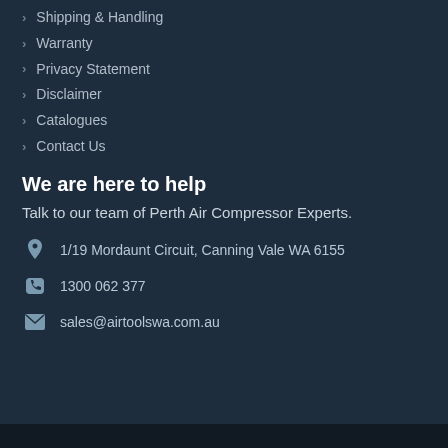Shipping & Handling
Warranty
Privacy Statement
Disclaimer
Catalogues
Contact Us
We are here to help
Talk to our team of Perth Air Compressor Experts.
1/19 Mordaunt Circuit, Canning Vale WA 6155
1300 062 377
sales@airtoolswa.com.au